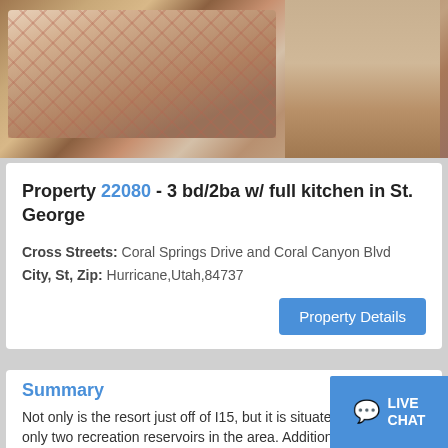[Figure (photo): Interior bedroom photo showing a large bed with patterned quilt/bedspread in pink/tan diamond pattern, dark wood headboard, bedside lamp, and a desk area with chair on the right side. Hardwood flooring visible.]
Property 22080 - 3 bd/2ba w/ full kitchen in St. George
Cross Streets: Coral Springs Drive and Coral Canyon Blvd
City, St, Zip: Hurricane,Utah,84737
Property Details
Summary
Not only is the resort just off of I15, but it is situated next to the only two recreation reservoirs in the area. Additionally